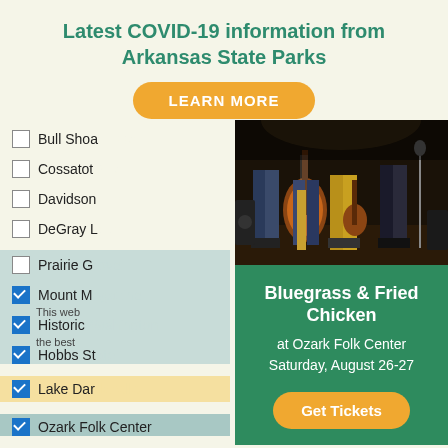Latest COVID-19 information from Arkansas State Parks
LEARN MORE
Bull Shoals
Cossatot
Davidson
DeGray Lake
Prairie Grove
Mount Magazine
Historic Washington
Hobbs State
Lake Dardanelle
Ozark Folk Center
[Figure (photo): Musicians on stage with guitars and bass instruments, performing at a bluegrass event]
Bluegrass & Fried Chicken
at Ozark Folk Center
Saturday, August 26-27
Get Tickets